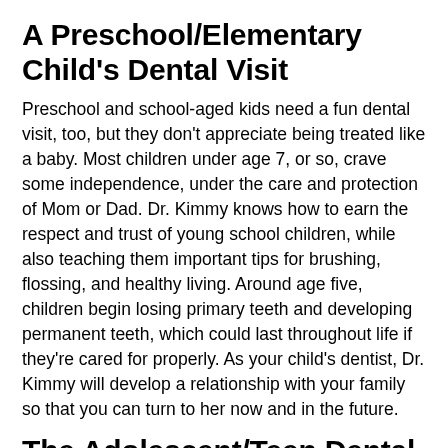A Preschool/Elementary Child's Dental Visit
Preschool and school-aged kids need a fun dental visit, too, but they don't appreciate being treated like a baby. Most children under age 7, or so, crave some independence, under the care and protection of Mom or Dad. Dr. Kimmy knows how to earn the respect and trust of young school children, while also teaching them important tips for brushing, flossing, and healthy living. Around age five, children begin losing primary teeth and developing permanent teeth, which could last throughout life if they're cared for properly. As your child's dentist, Dr. Kimmy will develop a relationship with your family so that you can turn to her now and in the future.
The Adolescent/Teen Dental Appointment
Adolescents and teenagers are completely different